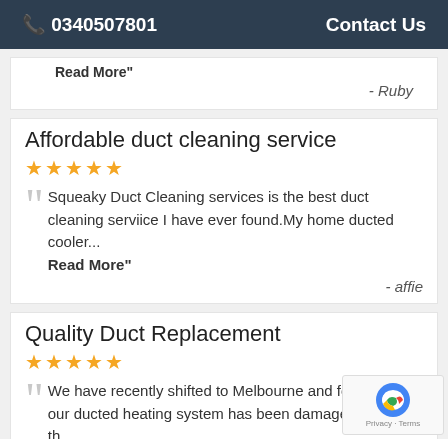📞 0340507801   Contact Us
Read More"
- Ruby
Affordable duct cleaning service
★★★★★
Squeaky Duct Cleaning services is the best duct cleaning serviice I have ever found.My home ducted cooler... Read More"
- affie
Quality Duct Replacement
★★★★★
We have recently shifted to Melbourne and found that our ducted heating system has been damaged during th... Read More"
- Jayden